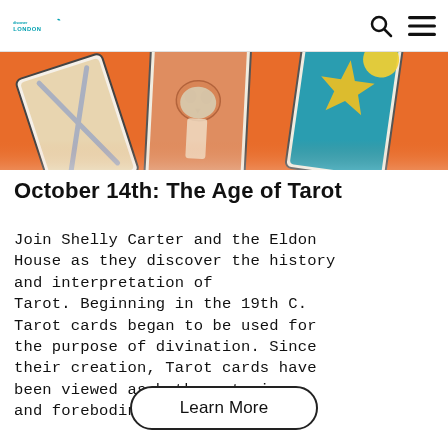Logo | Search | Menu
[Figure (photo): Colorful tarot cards spread out, showing illustrations including a skeleton figure, swords, and star symbols on orange and teal backgrounds.]
October 14th: The Age of Tarot
Join Shelly Carter and the Eldon House as they discover the history and interpretation of Tarot. Beginning in the 19th C. Tarot cards began to be used for the purpose of divination. Since their creation, Tarot cards have been viewed as both mysterious and foreboding.
Learn More